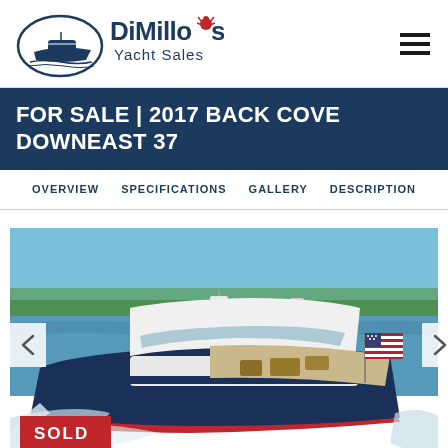[Figure (logo): DiMillo's Yacht Sales logo with boat illustration in oval and red lobster accent]
FOR SALE | 2017 BACK COVE DOWNEAST 37
OVERVIEW   SPECIFICATIONS   GALLERY   DESCRIPTION
[Figure (photo): 2017 Back Cove Downeast 37 yacht underway on the water with American flag flying, white hardtop, dark navy hull with red stripe. SOLD badge in lower left corner.]